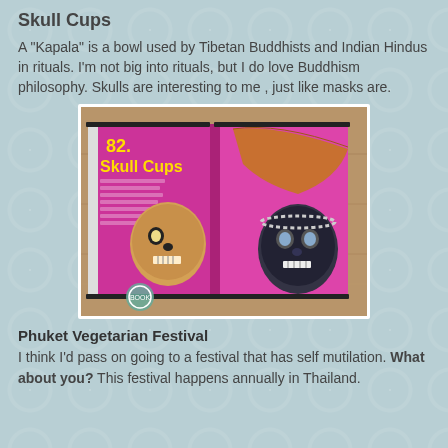Skull Cups
A "Kapala" is a bowl used by Tibetan Buddhists and Indian Hindus in rituals. I'm not big into rituals, but I do love Buddhism philosophy. Skulls are interesting to me , just like masks are.
[Figure (photo): Photo of an open book showing page 82 titled 'Skull Cups' with a magenta/purple background, featuring images of decorative skull cups — ornate carved skulls used as ritual bowls — on a wooden table surface.]
Phuket Vegetarian Festival
I think I'd pass on going to a festival that has self mutilation. What about you? This festival happens annually in Thailand.